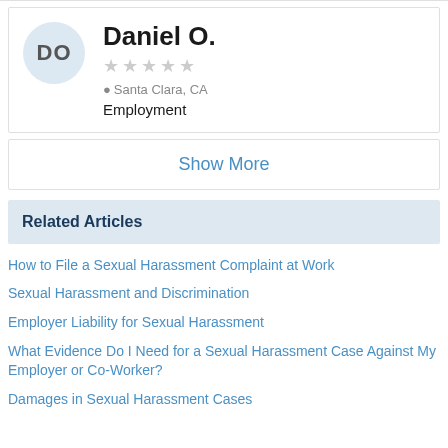Daniel O. | Santa Clara, CA | Employment | 1 star rating
Show More
Related Articles
How to File a Sexual Harassment Complaint at Work
Sexual Harassment and Discrimination
Employer Liability for Sexual Harassment
What Evidence Do I Need for a Sexual Harassment Case Against My Employer or Co-Worker?
Damages in Sexual Harassment Cases